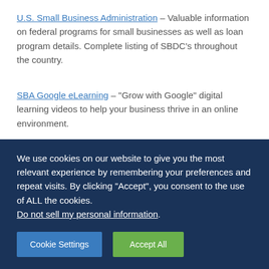U.S. Small Business Administration – Valuable information on federal programs for small businesses as well as loan program details. Complete listing of SBDC's throughout the country.
SBA Google eLearning – "Grow with Google" digital learning videos to help your business thrive in an online environment.
Resources
We use cookies on our website to give you the most relevant experience by remembering your preferences and repeat visits. By clicking "Accept", you consent to the use of ALL the cookies. Do not sell my personal information.